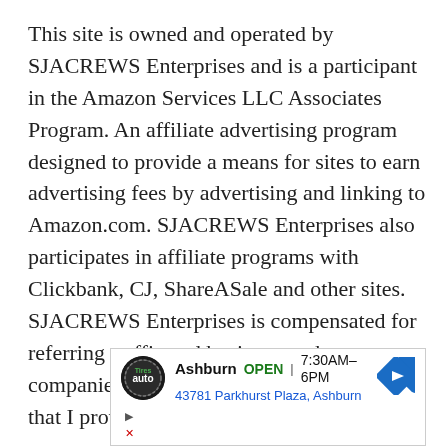This site is owned and operated by SJACREWS Enterprises and is a participant in the Amazon Services LLC Associates Program. An affiliate advertising program designed to provide a means for sites to earn advertising fees by advertising and linking to Amazon.com. SJACREWS Enterprises also participates in affiliate programs with Clickbank, CJ, ShareASale and other sites. SJACREWS Enterprises is compensated for referring traffic and business to these companies. Do you enjoy the information that I provide here on this website?
[Figure (other): Advertisement banner for Tire auto shop in Ashburn. Shows logo, store name 'Ashburn', OPEN status, hours 7:30AM-6PM, address 43781 Parkhurst Plaza Ashburn, and a blue navigation arrow icon.]